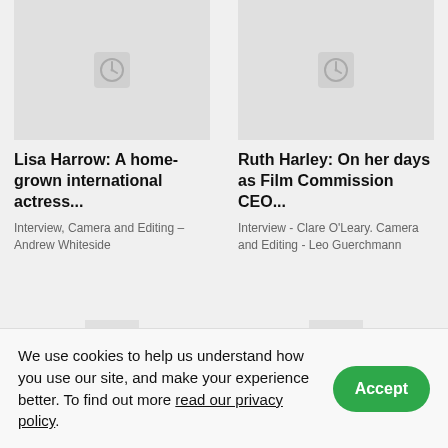[Figure (other): Placeholder image thumbnail (clock icon) for Lisa Harrow article]
Lisa Harrow: A home-grown international actress...
Interview, Camera and Editing – Andrew Whiteside
[Figure (other): Placeholder image thumbnail (clock icon) for Ruth Harley article]
Ruth Harley: On her days as Film Commission CEO...
Interview - Clare O'Leary. Camera and Editing - Leo Guerchmann
[Figure (other): Placeholder image thumbnail (clock icon) bottom left]
[Figure (other): Placeholder image thumbnail (clock icon) bottom right]
We use cookies to help us understand how you use our site, and make your experience better. To find out more read our privacy policy.